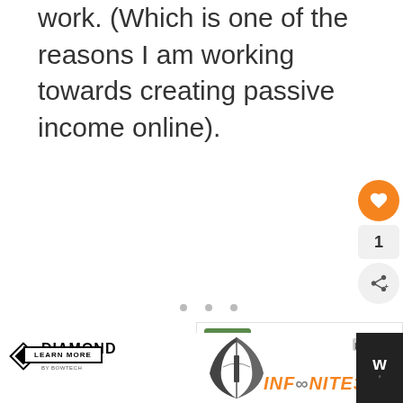work. (Which is one of the reasons I am working towards creating passive income online).
[Figure (screenshot): Orange heart/like button with count of 1, and a share button below]
[Figure (screenshot): Three small gray dots (pagination indicators)]
[Figure (screenshot): What's Next widget with nature image thumbnail and text 'Best Nature Quotes –...']
[Figure (infographic): Diamond Archery advertisement banner with bow image and INFINITE 305 branding]